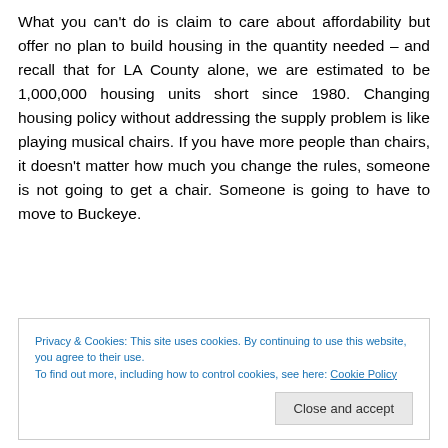What you can't do is claim to care about affordability but offer no plan to build housing in the quantity needed – and recall that for LA County alone, we are estimated to be 1,000,000 housing units short since 1980. Changing housing policy without addressing the supply problem is like playing musical chairs. If you have more people than chairs, it doesn't matter how much you change the rules, someone is not going to get a chair. Someone is going to have to move to Buckeye.
Privacy & Cookies: This site uses cookies. By continuing to use this website, you agree to their use.
To find out more, including how to control cookies, see here: Cookie Policy